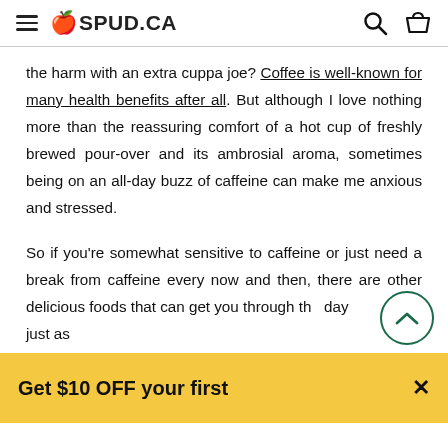SPUD.CA
the harm with an extra cuppa joe? Coffee is well-known for many health benefits after all. But although I love nothing more than the reassuring comfort of a hot cup of freshly brewed pour-over and its ambrosial aroma, sometimes being on an all-day buzz of caffeine can make me anxious and stressed.
So if you're somewhat sensitive to caffeine or just need a break from caffeine every now and then, there are other delicious foods that can get you through the day just as effectively. And some studies have shown that of
Get $10 OFF your first